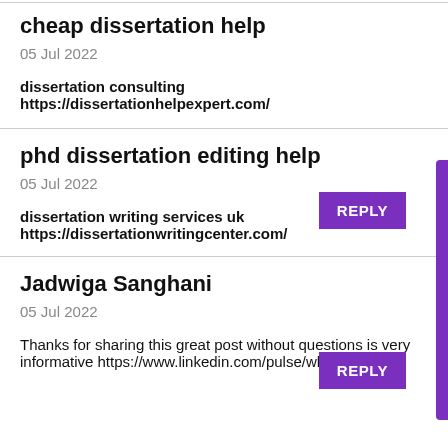cheap dissertation help
05 Jul 2022
dissertation consulting https://dissertationhelpexpert.com/
phd dissertation editing help
05 Jul 2022
dissertation writing services uk https://dissertationwritingcenter.com/
Jadwiga Sanghani
05 Jul 2022
Thanks for sharing this great post without questions is very informative https://www.linkedin.com/pulse/why-arent-car-